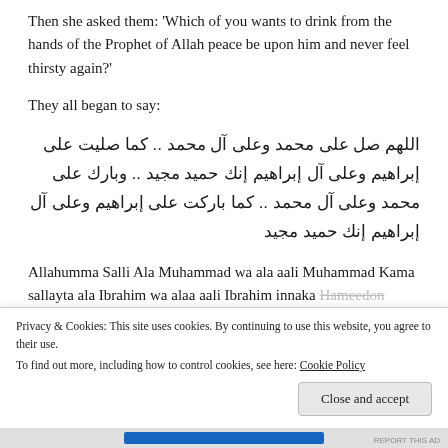Then she asked them: 'Which of you wants to drink from the hands of the Prophet of Allah peace be upon him and never feel thirsty again?'
They all began to say:
اللهم صل على محمد وعلى آل محمد .. كما صليت على إبراهيم وعلى آل إبراهيم إنك حميد مجيد .. وبارك على محمد وعلى آل محمد .. كما باركت على إبراهيم وعلى آل إبراهيم إنك حميد مجيد
Allahumma Salli Ala Muhammad wa ala aali Muhammad Kama sallayta ala Ibrahim wa alaa aali Ibrahim innaka Hameedon Majeed wa Barek Ala Muhammad wa alaa Aali
Privacy & Cookies: This site uses cookies. By continuing to use this website, you agree to their use. To find out more, including how to control cookies, see here: Cookie Policy
Close and accept